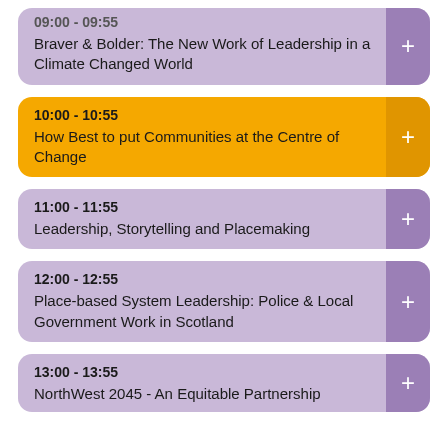09:00 - 09:55
Braver & Bolder: The New Work of Leadership in a Climate Changed World
10:00 - 10:55
How Best to put Communities at the Centre of Change
11:00 - 11:55
Leadership, Storytelling and Placemaking
12:00 - 12:55
Place-based System Leadership: Police & Local Government Work in Scotland
13:00 - 13:55
NorthWest 2045 - An Equitable Partnership